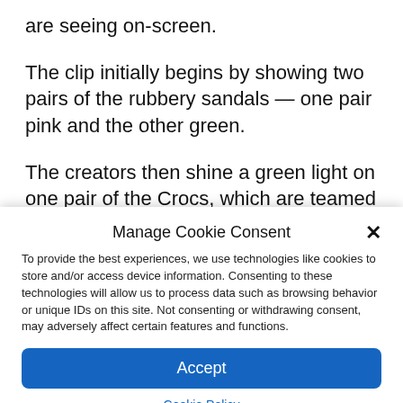are seeing on-screen.
The clip initially begins by showing two pairs of the rubbery sandals — one pair pink and the other green.
The creators then shine a green light on one pair of the Crocs, which are teamed with a
Manage Cookie Consent
To provide the best experiences, we use technologies like cookies to store and/or access device information. Consenting to these technologies will allow us to process data such as browsing behavior or unique IDs on this site. Not consenting or withdrawing consent, may adversely affect certain features and functions.
Accept
Cookie Policy